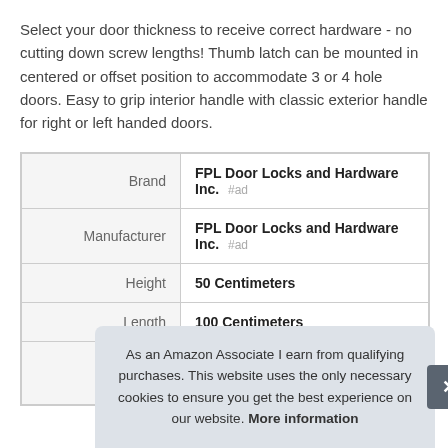Select your door thickness to receive correct hardware - no cutting down screw lengths! Thumb latch can be mounted in centered or offset position to accommodate 3 or 4 hole doors. Easy to grip interior handle with classic exterior handle for right or left handed doors.
| Brand | FPL Door Locks and Hardware Inc. #ad |
| Manufacturer | FPL Door Locks and Hardware Inc. #ad |
| Height | 50 Centimeters |
| Length | 100 Centimeters |
| P |  |
As an Amazon Associate I earn from qualifying purchases. This website uses the only necessary cookies to ensure you get the best experience on our website. More information